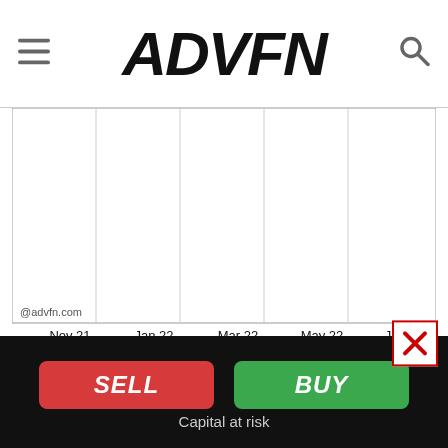ADVFN
[Figure (continuous-plot): 9-month stock price chart for Tg Therapeutics with x-axis labels: Nov 21, Jan 22, Mar 22, May 22, Jul 22. Chart area is mostly white/empty (price near zero). Copyright @advfn.com shown at bottom-left of chart.]
1 Month Tg Therapeutics Chart
[Figure (continuous-plot): 1-month stock price chart for Tg Therapeutics. Chart grid visible with 5 vertical divisions, content partially cut off at bottom.]
SELL
BUY
Capital at risk